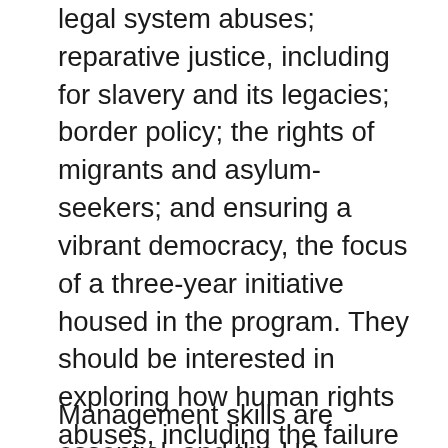legal system abuses; reparative justice, including for slavery and its legacies; border policy; the rights of migrants and asylum-seekers; and ensuring a vibrant democracy, the focus of a three-year initiative housed in the program. They should be interested in exploring how human rights abuses, including the failure to achieve economic and social rights, are rooted in entrenched power structures. They should have deep knowledge of research and advocacy methodologies for advancing rights at local, state, and national levels, and embrace partnerships and centering the power and leadership of directly impacted people in setting priorities and in project execution.
Management skills are essential, and the US